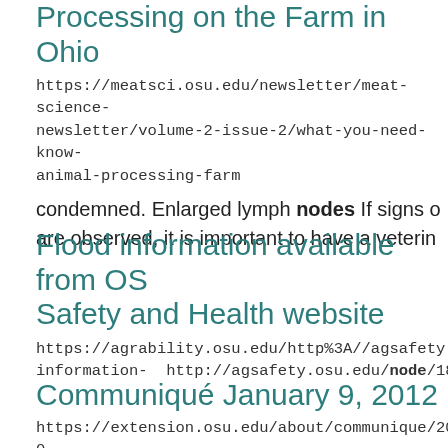Processing on the Farm in Ohio
https://meatsci.osu.edu/newsletter/meat-science-newsletter/volume-2-issue-2/what-you-need-know-animal-processing-farm
condemned. Enlarged lymph nodes If signs o are observed, it is important to have a veterin
Flood information available from OS Safety and Health website
https://agrability.osu.edu/http%3A//agsafety.osu.edu information-  http://agsafety.osu.edu/node/18
Communiqué January 9, 2012
https://extension.osu.edu/about/communique/2012-0 at https://registration.it.ohio-state.edu/node/ https://registration.it.ohio-state.edu/node/